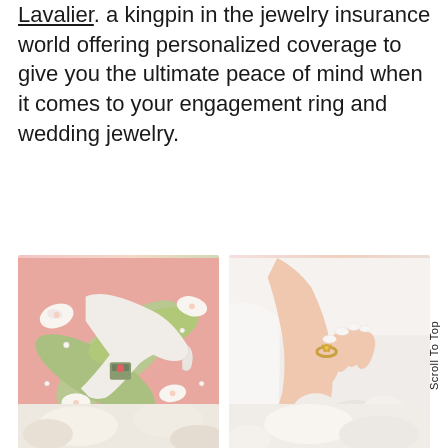Lavalier. a kingpin in the jewelry insurance world offering personalized coverage to give you the ultimate peace of mind when it comes to your engagement ring and wedding jewelry.
[Figure (photo): Flat lay of white high heel shoes, tropical palm leaves, white orchid flowers, and a ring box on a pink background]
[Figure (photo): Close-up of a bride's hand with white manicured nails wearing a gold floral ring, holding a bouquet of white flowers]
[Figure (photo): Partial view of wedding related items, light colored flowers, cropped at bottom of page]
[Figure (photo): Partial view of wedding related items, light colored flowers, cropped at bottom of page]